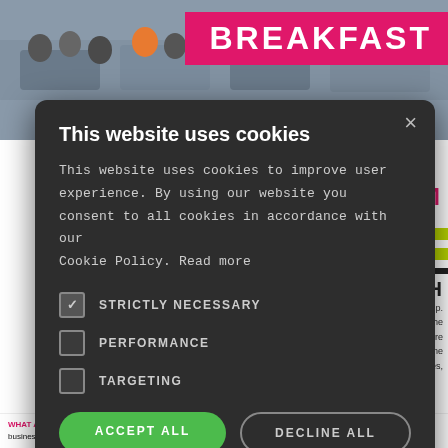[Figure (screenshot): Background page showing a business breakfast event webpage with photo of people dining, 'BREAKFAST' banner in pink, date '2019', time '8:30-9AM', Ainscough Group content, and green decorative bars. A cookie consent modal dialog overlays the page.]
This website uses cookies
This website uses cookies to improve user experience. By using our website you consent to all cookies in accordance with our Cookie Policy. Read more
STRICTLY NECESSARY
PERFORMANCE
TARGETING
ACCEPT ALL    DECLINE ALL
SHOW DETAILS
WHAT ARE BUSINESS BREAKFASTS? Business breakfasts are our way reaching out to local businesses. You can meet other local businesses enjoy a free breakfast and hear some...